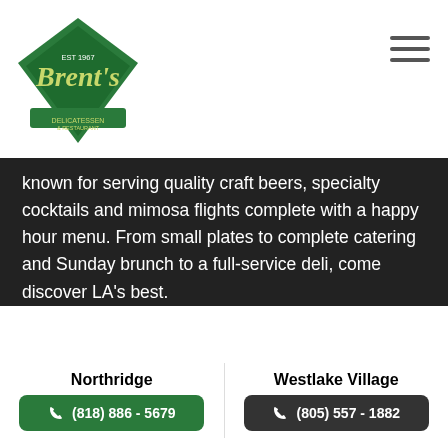[Figure (logo): Brent's Delicatessen & Restaurant logo - green diamond shape with script text]
known for serving quality craft beers, specialty cocktails and mimosa flights complete with a happy hour menu. From small plates to complete catering and Sunday brunch to a full-service deli, come discover LA's best.
[Figure (infographic): Social media icons row: Facebook, Twitter, YouTube, Instagram; with green accessibility icon on left]
SITE LINKS
Menu
Happy Hour
Blog
Northridge
(818) 886 - 5679
Westlake Village
(805) 557 - 1882